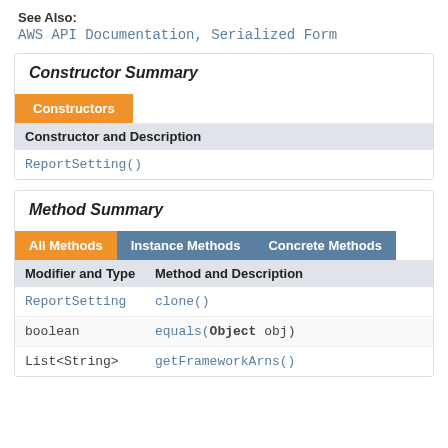See Also:
AWS API Documentation, Serialized Form
Constructor Summary
| Constructor and Description |
| --- |
| ReportSetting() |
Method Summary
| Modifier and Type | Method and Description |
| --- | --- |
| ReportSetting | clone() |
| boolean | equals(Object obj) |
| List<String> | getFrameworkArns() |